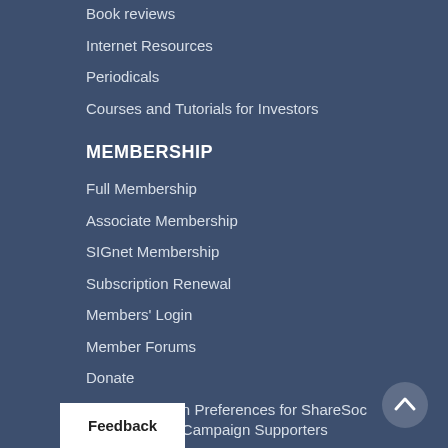Book reviews
Internet Resources
Periodicals
Courses and Tutorials for Investors
MEMBERSHIP
Full Membership
Associate Membership
SIGnet Membership
Subscription Renewal
Members' Login
Member Forums
Donate
Communication Preferences for ShareSoc Members and Campaign Supporters
Communication Preferences for Non-
Feedback